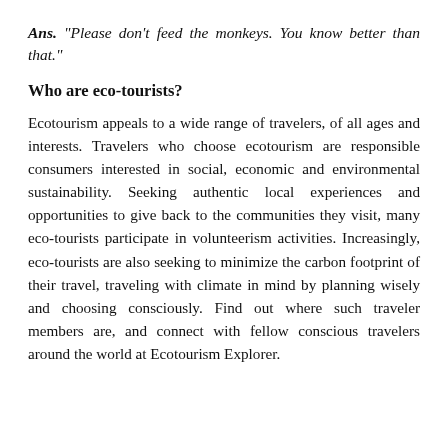Ans. "Please don't feed the monkeys. You know better than that."
Who are eco-tourists?
Ecotourism appeals to a wide range of travelers, of all ages and interests. Travelers who choose ecotourism are responsible consumers interested in social, economic and environmental sustainability. Seeking authentic local experiences and opportunities to give back to the communities they visit, many eco-tourists participate in volunteerism activities. Increasingly, eco-tourists are also seeking to minimize the carbon footprint of their travel, traveling with climate in mind by planning wisely and choosing consciously. Find out where such traveler members are, and connect with fellow conscious travelers around the world at Ecotourism Explorer.